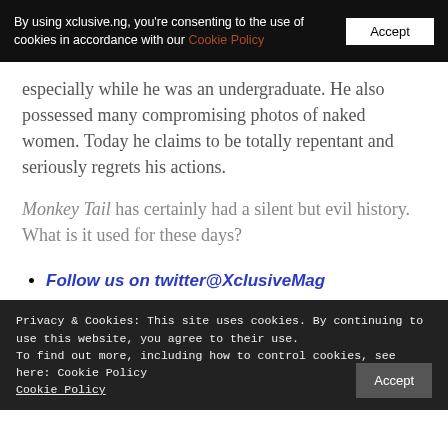By using xclusive.ng, you're consenting to the use of cookies in accordance with our Cookie Policy  [Accept]
especially while he was an undergraduate. He also possessed many compromising photos of naked women. Today he claims to be totally repentant and seriously regrets his actions.
Monkey Tail has certainly had a silent but evil history. What is it used for these days?
Follow us on twitter@XclusiveMag
Privacy & Cookies: This site uses cookies. By continuing to use this website, you agree to their use.
To find out more, including how to control cookies, see here: Cookie Policy
Cookie Policy  [Accept]